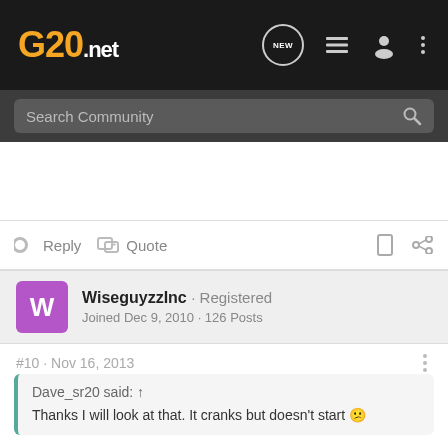G20.net — Search Community
Reply  Quote
WiseguyzzInc · Registered
Joined Dec 9, 2010 · 126 Posts
#10 · Nov 16, 2013
Dave_sr20 said: ↑
Thanks I will look at that. It cranks but doesn't start 🙁
What bypass module are you using? How is it wired up?